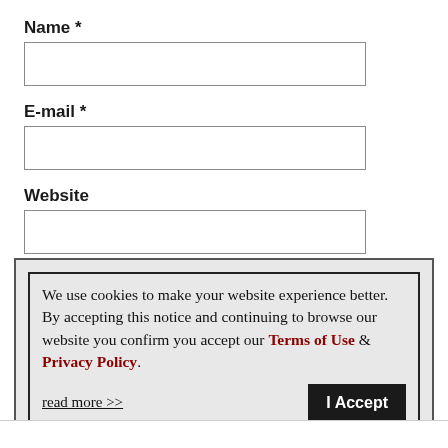Name *
E-mail *
Website
☐ Save my name, email, and website in this browser for
We use cookies to make your website experience better. By accepting this notice and continuing to browse our website you confirm you accept our Terms of Use & Privacy Policy.

read more >>   I Accept